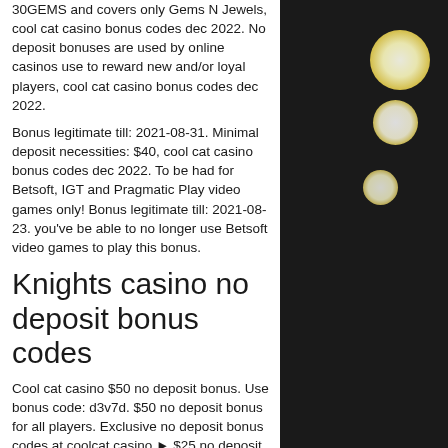30GEMS and covers only Gems N Jewels, cool cat casino bonus codes dec 2022. No deposit bonuses are used by online casinos use to reward new and/or loyal players, cool cat casino bonus codes dec 2022.
Bonus legitimate till: 2021-08-31. Minimal deposit necessities: $40, cool cat casino bonus codes dec 2022. To be had for Betsoft, IGT and Pragmatic Play video games only! Bonus legitimate till: 2021-08-23. you've be able to no longer use Betsoft video games to play this bonus.
Knights casino no deposit bonus codes
Cool cat casino $50 no deposit bonus. Use bonus code: d3v7d. $50 no deposit bonus for all players. Exclusive no deposit bonus codes at coolcat casino ► $25 no deposit free chip ✓ plus $5000 bonus + 35 free
[Figure (photo): Decorative photo of golden glittery ornaments and glowing light orbs against a dark background, suggesting a casino or festive theme.]